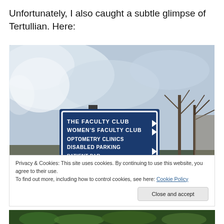Unfortunately, I also caught a subtle glimpse of Tertullian. Here:
[Figure (photo): Outdoor directional sign on a blue board reading: THE FACULTY CLUB (with arrow), WOMEN'S FACULTY CLUB (with arrow), OPTOMETRY CLINICS, DISABLED PARKING (with arrow), PATIENT P... (partially cut off). Sky with clouds visible in the background, bare trees to the right, building partially visible.]
Privacy & Cookies: This site uses cookies. By continuing to use this website, you agree to their use.
To find out more, including how to control cookies, see here: Cookie Policy
[Figure (photo): Bottom sliver of another outdoor photo showing green shrubbery.]